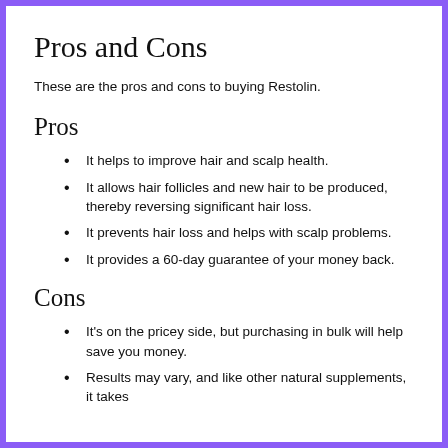Pros and Cons
These are the pros and cons to buying Restolin.
Pros
It helps to improve hair and scalp health.
It allows hair follicles and new hair to be produced, thereby reversing significant hair loss.
It prevents hair loss and helps with scalp problems.
It provides a 60-day guarantee of your money back.
Cons
It's on the pricey side, but purchasing in bulk will help save you money.
Results may vary, and like other natural supplements, it takes